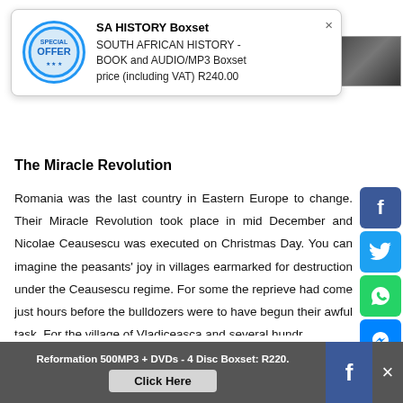[Figure (infographic): Popup ad box with OFFER circular stamp icon, title SA HISTORY Boxset, description about SOUTH AFRICAN HISTORY BOOK and AUDIO/MP3 Boxset price including VAT R240.00, and a close X button]
The Miracle Revolution
Romania was the last country in Eastern Europe to change. Their Miracle Revolution took place in mid December and Nicolae Ceausescu was executed on Christmas Day. You can imagine the peasants' joy in villages earmarked for destruction under the Ceausescu regime. For some the reprieve had come just hours before the bulldozers were to have begun their awful task. For the village of Vladiceasca and several hundred
[Figure (infographic): Social media sharing sidebar with Facebook, Twitter, WhatsApp, Messenger, Google+, Pinterest, and More buttons]
Reformation 500MP3 + DVDs - 4 Disc Boxset: R220.   Click Here